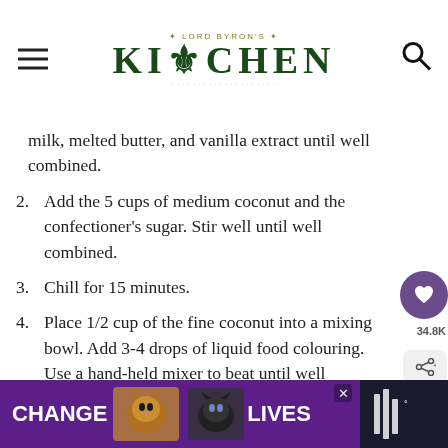Lord Byron's Kitchen
milk, melted butter, and vanilla extract until well combined.
2. Add the 5 cups of medium coconut and the confectioner's sugar. Stir well until well combined.
3. Chill for 15 minutes.
4. Place 1/2 cup of the fine coconut into a mixing bowl. Add 3-4 drops of liquid food colouring. Use a hand-held mixer to beat until well combined and coconut has a consistent colo. Repeat this step for each colour you want to
[Figure (photo): Advertisement banner: purple background with 'CHANGE LIVES' text, cat photos, and a close button]